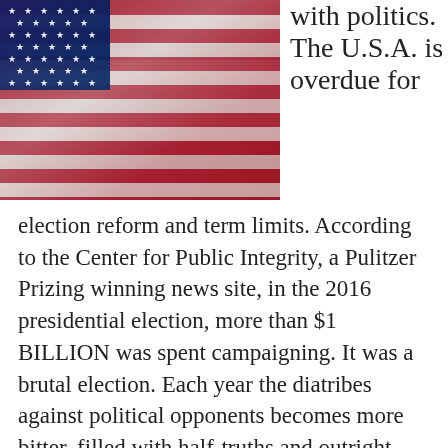[Figure (photo): Close-up photograph of an American flag with red, white, and blue colors — stars visible in upper left corner, fabric waving.]
with politics. The U.S.A. is overdue for election reform and term limits. According to the Center for Public Integrity, a Pulitzer Prizing winning news site, in the 2016 presidential election, more than $1 BILLION was spent campaigning. It was a brutal election. Each year the diatribes against political opponents becomes more bitter, filled with half-truths and outright lies. Campaigning is less about what good can come of electing a particular candidate and